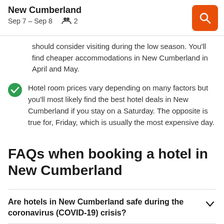New Cumberland
Sep 7 – Sep 8   2
should consider visiting during the low season. You'll find cheaper accommodations in New Cumberland in April and May.
Hotel room prices vary depending on many factors but you'll most likely find the best hotel deals in New Cumberland if you stay on a Saturday. The opposite is true for, Friday, which is usually the most expensive day.
FAQs when booking a hotel in New Cumberland
Are hotels in New Cumberland safe during the coronavirus (COVID-19) crisis?